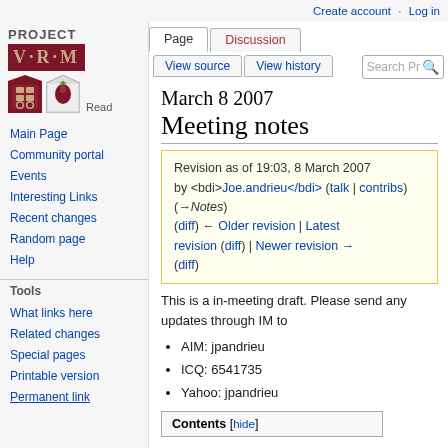Create account  Log in
[Figure (logo): Project VRM logo with red box containing V·R·M text, Harvard shield and Berkman shield icons]
Navigation links: Main Page, Community portal, Events, Interesting Links, Recent changes, Random page, Help
Tools: What links here, Related changes, Special pages, Printable version, Permanent link
March 8 2007 Meeting notes
Revision as of 19:03, 8 March 2007 by <bdi>Joe.andrieu</bdi> (talk | contribs) (→Notes) (diff) ← Older revision | Latest revision (diff) | Newer revision → (diff)
This is a in-meeting draft. Please send any updates through IM to
AIM: jpandrieu
ICQ: 6541735
Yahoo: jpandrieu
Contents [hide]